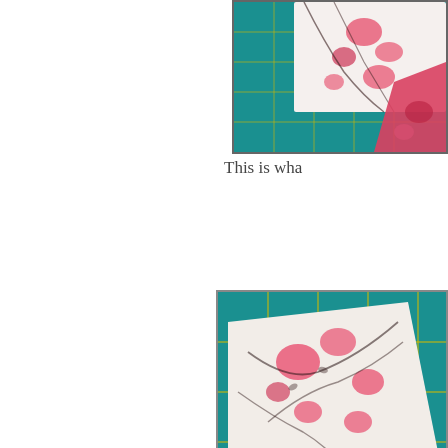[Figure (photo): Quilting fabric pieces on a teal cutting mat, partially cropped at top of page]
This is wha
[Figure (photo): Two quilting fabric pieces side by side on a teal cutting mat with yellow grid lines. One piece is white with pink floral pattern and dark vines, the other is pink with floral pattern.]
Here are the units, side by one on the right was. I used no longer. This m